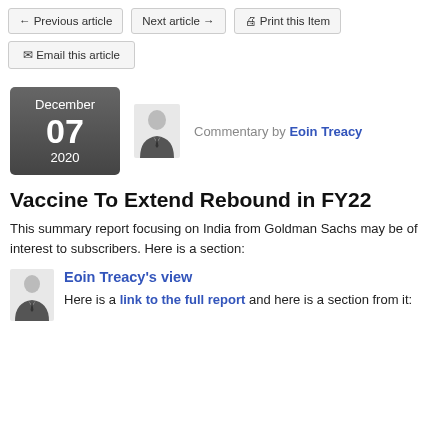← Previous article   Next article →   🖨 Print this Item
✉ Email this article
December 07 2020  Commentary by Eoin Treacy
Vaccine To Extend Rebound in FY22
This summary report focusing on India from Goldman Sachs may be of interest to subscribers. Here is a section:
Eoin Treacy's view
Here is a link to the full report and here is a section from it: